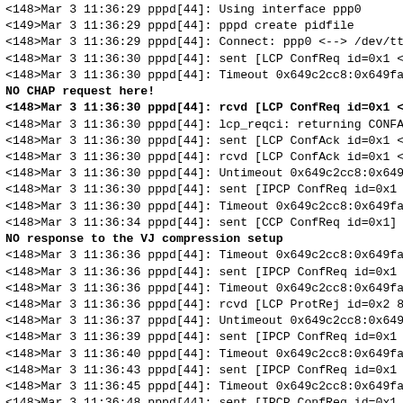<148>Mar  3 11:36:29 pppd[44]: Using interface ppp0
<149>Mar  3 11:36:29 pppd[44]: pppd create pidfile
<148>Mar  3 11:36:29 pppd[44]: Connect: ppp0 <--> /dev/ttyS1
<148>Mar  3 11:36:30 pppd[44]: sent [LCP ConfReq id=0x1 <asyncmap 0xa0
<148>Mar  3 11:36:30 pppd[44]: Timeout 0x649c2cc8:0x649fa664 in 3 secon
NO CHAP request here!
<148>Mar  3 11:36:30 pppd[44]: rcvd [LCP ConfReq id=0x1 <asyncmap 0x
<148>Mar  3 11:36:30 pppd[44]: lcp_reqci: returning CONFACK.
<148>Mar  3 11:36:30 pppd[44]: sent [LCP ConfAck id=0x1 <asyncmap 0x0>
<148>Mar  3 11:36:30 pppd[44]: rcvd [LCP ConfAck id=0x1 <asyncmap 0xa0
<148>Mar  3 11:36:30 pppd[44]: Untimeout 0x649c2cc8:0x649fa664.
<148>Mar  3 11:36:30 pppd[44]: sent [IPCP ConfReq id=0x1 <addr 0.0.0.0> <
<148>Mar  3 11:36:30 pppd[44]: Timeout 0x649c2cc8:0x649fa884 in 3 secon
<148>Mar  3 11:36:34 pppd[44]: sent [CCP ConfReq id=0x1]
NO response to the VJ compression setup
<148>Mar  3 11:36:36 pppd[44]: Timeout 0x649c2cc8:0x649fa8c4 in 3 secon
<148>Mar  3 11:36:36 pppd[44]: sent [IPCP ConfReq id=0x1 <addr 0.0.0.0> <
<148>Mar  3 11:36:36 pppd[44]: Timeout 0x649c2cc8:0x649fa884 in 3 secon
<148>Mar  3 11:36:36 pppd[44]: rcvd [LCP ProtRej id=0x2 80 fd 01 01]
<148>Mar  3 11:36:37 pppd[44]: Untimeout 0x649c2cc8:0x649fa8c4.
<148>Mar  3 11:36:39 pppd[44]: sent [IPCP ConfReq id=0x1 <addr 0.0.0.0> <
<148>Mar  3 11:36:40 pppd[44]: Timeout 0x649c2cc8:0x649fa884 in 3 secon
<148>Mar  3 11:36:43 pppd[44]: sent [IPCP ConfReq id=0x1 <addr 0.0.0.0> <
<148>Mar  3 11:36:45 pppd[44]: Timeout 0x649c2cc8:0x649fa884 in 3 secon
<148>Mar  3 11:36:48 pppd[44]: sent [IPCP ConfReq id=0x1 <addr 0.0.0.0> <